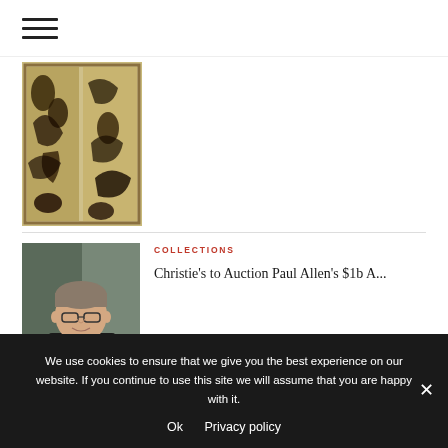[Figure (other): Hamburger menu icon with three horizontal lines]
[Figure (illustration): Partial artwork thumbnail showing dark botanical/figurative motifs on a light background, framed]
[Figure (photo): Photo of Paul Allen, a man with glasses in a dark jacket and blue shirt]
COLLECTIONS
Christie's to Auction Paul Allen's $1b A...
We use cookies to ensure that we give you the best experience on our website. If you continue to use this site we will assume that you are happy with it.
Ok   Privacy policy